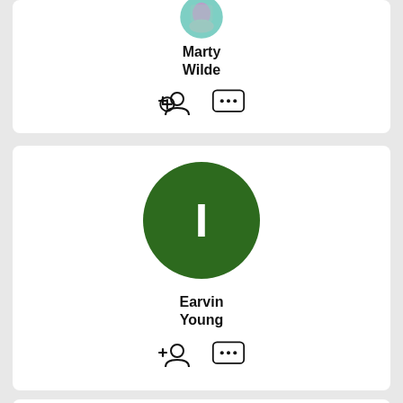[Figure (photo): Profile card for Marty Wilde with circular photo at top, name text, and add-friend and message icons]
Marty Wilde
[Figure (photo): Profile card for Earvin Young with green circle avatar showing letter I, name text, and add-friend and message icons]
Earvin Young
[Figure (photo): Partial profile card at bottom showing top of a circular avatar photo]